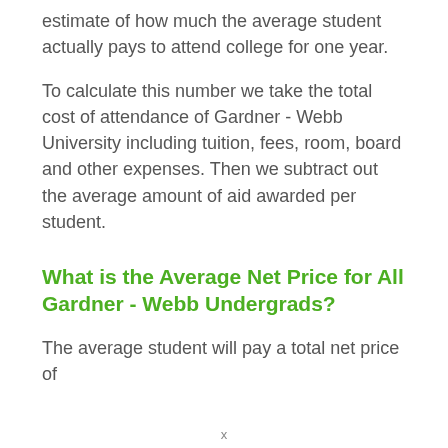estimate of how much the average student actually pays to attend college for one year.
To calculate this number we take the total cost of attendance of Gardner - Webb University including tuition, fees, room, board and other expenses. Then we subtract out the average amount of aid awarded per student.
What is the Average Net Price for All Gardner - Webb Undergrads?
The average student will pay a total net price of